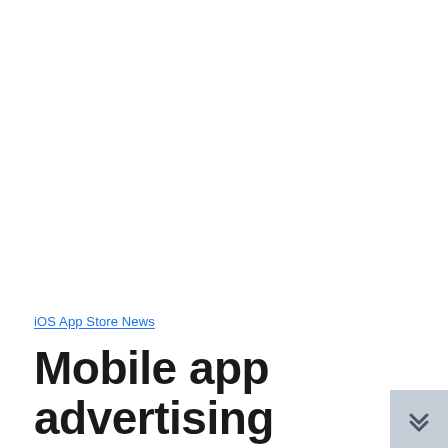iOS App Store News
Mobile app advertising insights: Vungle acquires GameRefinery to enhance app